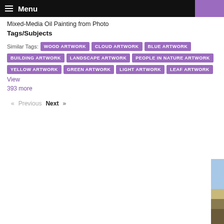Menu
Mixed-Media Oil Painting from Photo
Tags/Subjects
Similar Tags: WOOD ARTWORK  CLOUD ARTWORK  BLUE ARTWORK  BUILDING ARTWORK  LANDSCAPE ARTWORK  PEOPLE IN NATURE ARTWORK  YELLOW ARTWORK  GREEN ARTWORK  LIGHT ARTWORK  LEAF ARTWORK  View 393 more
« Previous   Next »